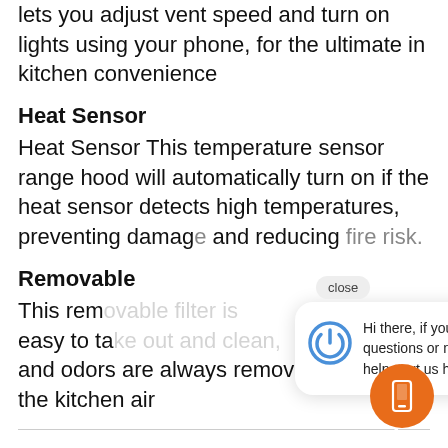lets you adjust vent speed and turn on lights using your phone, for the ultimate in kitchen convenience
Heat Sensor
Heat Sensor This temperature sensor range hood will automatically turn on if the heat sensor detects high temperatures, preventing damage and reducing fire risk.
Removable
This removable filter is easy to take out and clean, ensuring smoke and odors are always removed from the kitchen air
[Figure (screenshot): Chat widget popup with power icon and text: 'Hi there, if you have questions or need help, text us here.' with a close button and orange mobile phone button.]